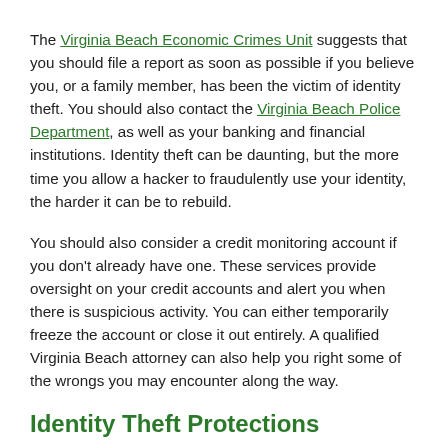The Virginia Beach Economic Crimes Unit suggests that you should file a report as soon as possible if you believe you, or a family member, has been the victim of identity theft. You should also contact the Virginia Beach Police Department, as well as your banking and financial institutions. Identity theft can be daunting, but the more time you allow a hacker to fraudulently use your identity, the harder it can be to rebuild.
You should also consider a credit monitoring account if you don't already have one. These services provide oversight on your credit accounts and alert you when there is suspicious activity. You can either temporarily freeze the account or close it out entirely. A qualified Virginia Beach attorney can also help you right some of the wrongs you may encounter along the way.
Identity Theft Protections